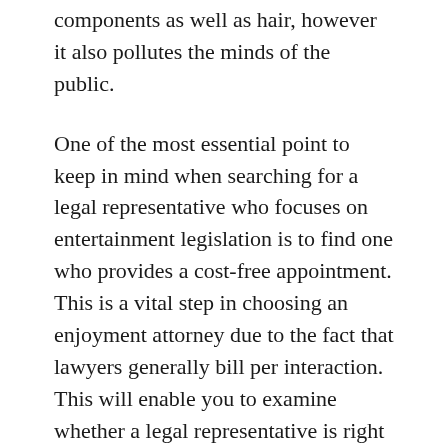components as well as hair, however it also pollutes the minds of the public.
One of the most essential point to keep in mind when searching for a legal representative who focuses on entertainment legislation is to find one who provides a cost-free appointment. This is a vital step in choosing an enjoyment attorney due to the fact that lawyers generally bill per interaction. This will enable you to examine whether a legal representative is right for your instance based upon his/her competence and their experience and connections in the field. The cost-free assessment will additionally aid you determine which lawyer is ideal fit to handle your